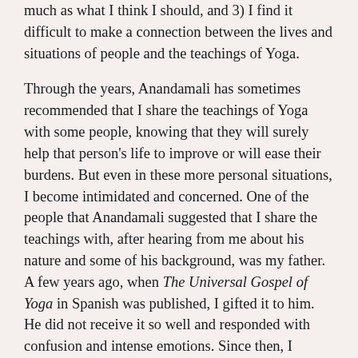much as what I think I should, and 3) I find it difficult to make a connection between the lives and situations of people and the teachings of Yoga.
Through the years, Anandamali has sometimes recommended that I share the teachings of Yoga with some people, knowing that they will surely help that person's life to improve or will ease their burdens. But even in these more personal situations, I become intimidated and concerned. One of the people that Anandamali suggested that I share the teachings with, after hearing from me about his nature and some of his background, was my father. A few years ago, when The Universal Gospel of Yoga in Spanish was published, I gifted it to him. He did not receive it so well and responded with confusion and intense emotions. Since then, I avoided speaking with him about Yoga and at some point, I came to the decision that I should primarily focus on transforming myself first and foremost.